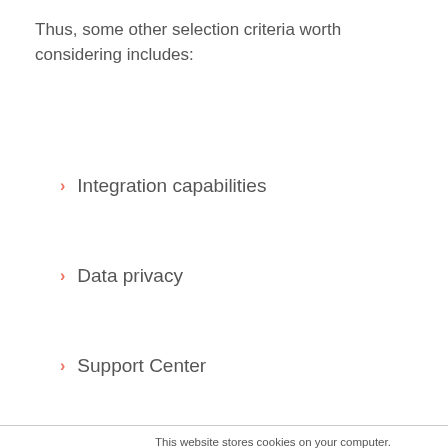Thus, some other selection criteria worth considering includes:
Integration capabilities
Data privacy
Support Center
This website stores cookies on your computer. These cookies are used to collect information about how you interact with our website and allow us to remember you. We use this information in order to improve and customize your browsing experience and for analytics and metrics about our visitors both on this website and other media. To find out more about the cookies we use, see our Privacy Policy